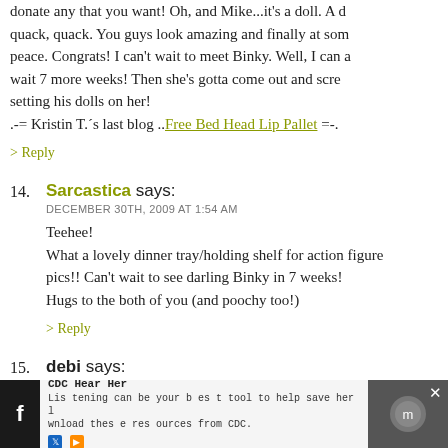donate any that you want! Oh, and Mike...it's a doll. A duck, quack, quack. You guys look amazing and finally at some peace. Congrats! I can't wait to meet Binky. Well, I can a wait 7 more weeks! Then she's gotta come out and scre setting his dolls on her!
.-= Kristin T.'s last blog ..Free Bed Head Lip Pallet =-.
> Reply
14. Sarcastica says:
DECEMBER 30TH, 2009 AT 1:54 AM
Teehee!
What a lovely dinner tray/holding shelf for action figure pics!! Can't wait to see darling Binky in 7 weeks!
Hugs to the both of you (and poochy too!)
> Reply
15. debi says:
DECEMBER 30TH, 2009 AT 2:12 AM
CDC Hear Her
Listening can be your best tool to help save her life download these resources from CDC.